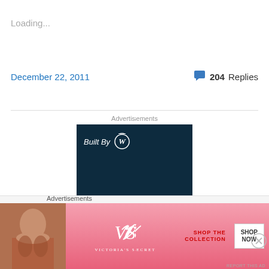Loading...
December 22, 2011
204 Replies
Advertisements
[Figure (advertisement): WordPress 'Built By' advertisement with dark teal background showing 'Built By' text with WordPress logo and 'Your site' text at bottom]
[Figure (advertisement): Victoria's Secret advertisement with pink gradient background, model photo, VS logo, 'SHOP THE COLLECTION' text and 'SHOP NOW' button]
Advertisements
REPORT THIS AD